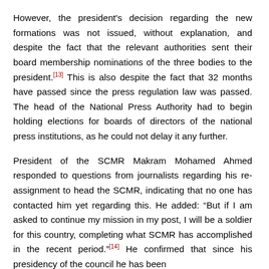However, the president's decision regarding the new formations was not issued, without explanation, and despite the fact that the relevant authorities sent their board membership nominations of the three bodies to the president.[13] This is also despite the fact that 32 months have passed since the press regulation law was passed. The head of the National Press Authority had to begin holding elections for boards of directors of the national press institutions, as he could not delay it any further.
President of the SCMR Makram Mohamed Ahmed responded to questions from journalists regarding his re-assignment to head the SCMR, indicating that no one has contacted him yet regarding this. He added: “But if I am asked to continue my mission in my post, I will be a soldier for this country, completing what SCMR has accomplished in the recent period.”[14] He confirmed that since his presidency of the council he has been